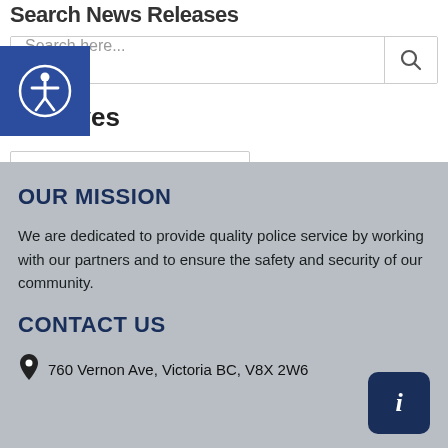Search News Releases
Search here...
Archives
Select Month
OUR MISSION
We are dedicated to provide quality police service by working with our partners and to ensure the safety and security of our community.
CONTACT US
760 Vernon Ave, Victoria BC, V8X 2W6